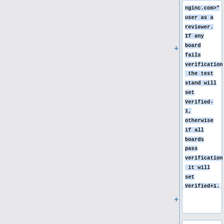nginc.com>" user as a reviewer. If any board fails verification the test stand will set Verified-1, otherwise if all boards pass verification it will set Verified+1.
All tests are run in